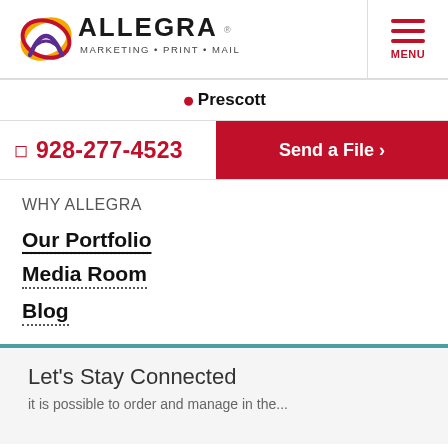[Figure (logo): Allegra Marketing Print Mail logo with stylized A icon]
MENU
Prescott
928-277-4523
Send a File ›
WHY ALLEGRA
Our Portfolio
Media Room
Blog
Let's Stay Connected
it is possible to order and manage in the...